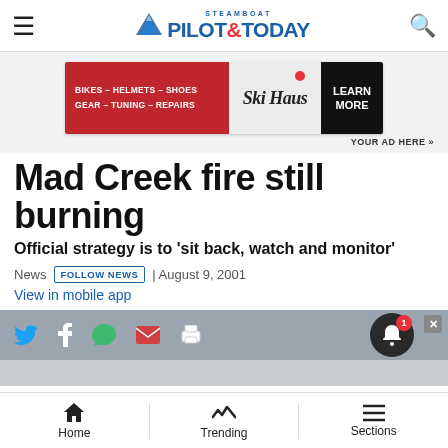Steamboat Pilot & Today
[Figure (infographic): Ski Haus advertisement banner: red left panel with text BIKES – HELMETS – SHOES / GEAR – TUNING – REPAIRS, middle panel with Ski Haus logo, right dark panel with LEARN MORE button]
YOUR AD HERE »
Mad Creek fire still burning
Official strategy is to 'sit back, watch and monitor'
News FOLLOW NEWS | August 9, 2001
View in mobile app
Home  Trending  Sections